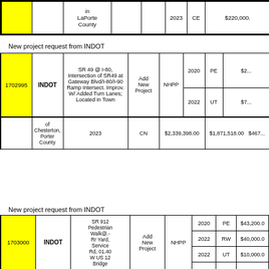| ID | Agency | Description | Action | Fund | Year | Phase | Amount |
| --- | --- | --- | --- | --- | --- | --- | --- |
|  |  | in LaPorte County |  |  | 2023 | CE | $220,000 |
New project request from INDOT
| ID | Agency | Description | Action | Fund | Year | Phase | Amount | Fed Amount | Other |
| --- | --- | --- | --- | --- | --- | --- | --- | --- | --- |
| 1702995 | INDOT | SR 49 @ I-80, Intersection of SR49 at Gateway Blvd/I-80/I-90 Ramp Intersect. Improv. W/ Added Turn Lanes; Located in Town | Add New Project | NHPP | 2020 | PE | $2... |  |  |
|  |  |  |  |  | 2022 | UT | $7... |  |  |
|  | of Chesterton, Porter County |  | 2023 | CN | $2,339,398.00 | $1,871,518.00 | $467... |  |  |
New project request from INDOT
| ID | Agency | Description | Action | Fund | Year | Phase | Amount |
| --- | --- | --- | --- | --- | --- | --- | --- |
| 1703000 | INDOT | SR 912 Pedestrian Walk@.-Rr Yard, Service Rd, 01.40 W US 12 Bridge | Add New Project | NHPP | 2020 | PE | $43,200.0 |
|  |  |  |  |  | 2022 | RW | $40,000.0 |
|  |  |  |  |  | 2022 | UT | $10,000.0 |